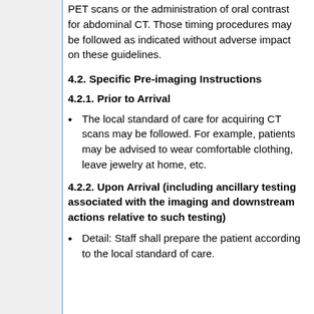PET scans or the administration of oral contrast for abdominal CT. Those timing procedures may be followed as indicated without adverse impact on these guidelines.
4.2. Specific Pre-imaging Instructions
4.2.1. Prior to Arrival
The local standard of care for acquiring CT scans may be followed. For example, patients may be advised to wear comfortable clothing, leave jewelry at home, etc.
4.2.2. Upon Arrival (including ancillary testing associated with the imaging and downstream actions relative to such testing)
Detail: Staff shall prepare the patient according to the local standard of care.